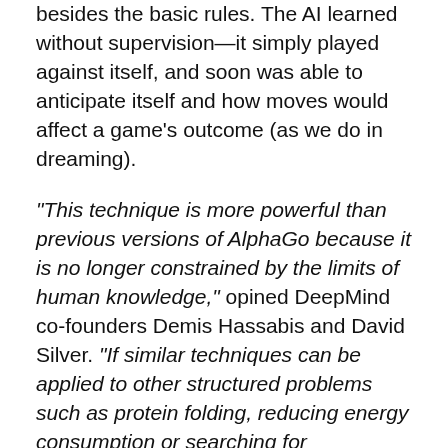besides the basic rules. The AI learned without supervision—it simply played against itself, and soon was able to anticipate itself and how moves would affect a game's outcome (as we do in dreaming).
“This technique is more powerful than previous versions of AlphaGo because it is no longer constrained by the limits of human knowledge,” opined DeepMind co-founders Demis Hassabis and David Silver. “If similar techniques can be applied to other structured problems such as protein folding, reducing energy consumption or searching for revolutionary new materials, the resulting breakthroughs have the potential to positively impact society,” their blog and their Nature article, “Mastering the game of Go without human knowledge”, say, insisting that “a long-standing goal of artificial intelligence is an algorithm that learns, tabula rasa, superhuman proficiency